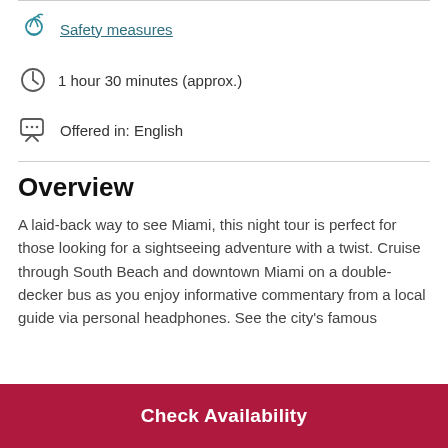Safety measures
1 hour 30 minutes (approx.)
Offered in: English
Overview
A laid-back way to see Miami, this night tour is perfect for those looking for a sightseeing adventure with a twist. Cruise through South Beach and downtown Miami on a double-decker bus as you enjoy informative commentary from a local guide via personal headphones. See the city's famous
Check Availability